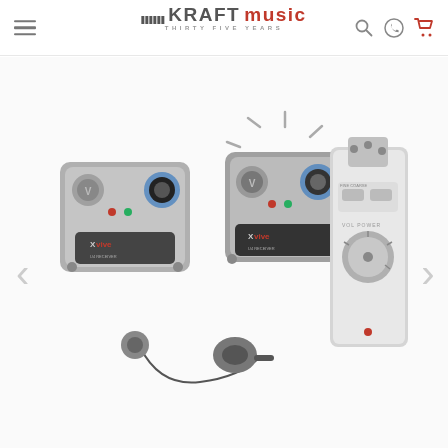[Figure (logo): Kraft Music logo with hamburger menu, search, phone, and cart icons in the header navigation bar]
[Figure (photo): Xvive brand logo (stylized X with 'vive' text) in dark gray, positioned top-right of product area]
[Figure (photo): Product gallery showing Xvive wireless guitar system components: two compact pedal-style transmitter/receiver units with LED indicators and dials, earbuds/in-ear monitors, and a silver XLR-style wireless transmitter device. Left and right navigation arrows visible.]